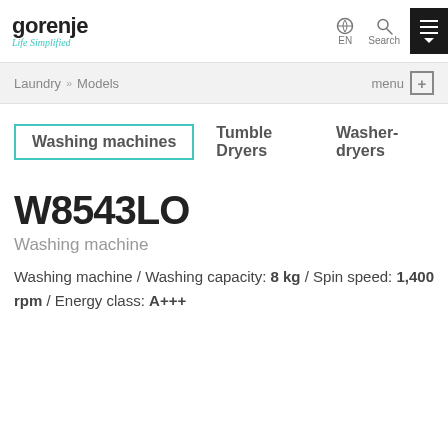[Figure (logo): Gorenje logo with 'gorenje' text and 'Life Simplified' tagline in teal italic]
EN  Search  [menu icon]
Laundry » Models  menu +
Washing machines  Tumble Dryers  Washer-dryers
W8543LO
Washing machine
Washing machine / Washing capacity: 8 kg / Spin speed: 1,400 rpm / Energy class: A+++